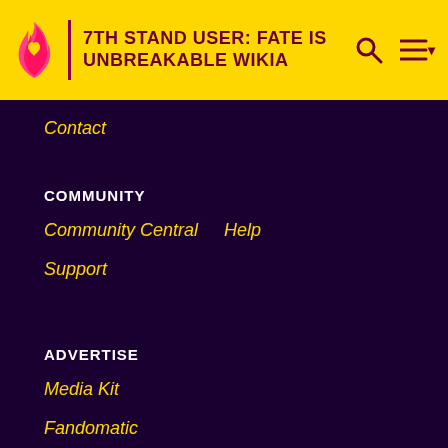7TH STAND USER: FATE IS UNBREAKABLE WIKIA
Contact
COMMUNITY
Community Central
Help
Support
ADVERTISE
Media Kit
Fandomatic
Contact